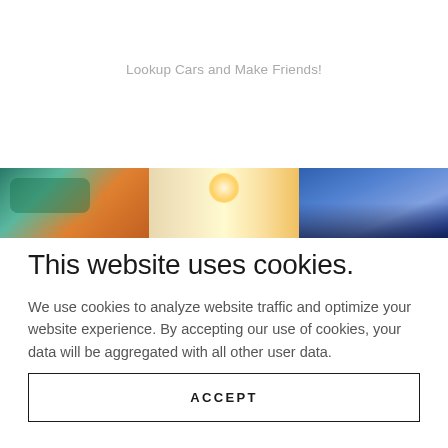Lookup Cars and Make Friends!
[Figure (photo): Horizontal banner with three car-themed image segments: a vintage teal car on the left, a bright warm glowing center, and a dark modern car hood under blue sky on the right.]
This website uses cookies.
We use cookies to analyze website traffic and optimize your website experience. By accepting our use of cookies, your data will be aggregated with all other user data.
ACCEPT